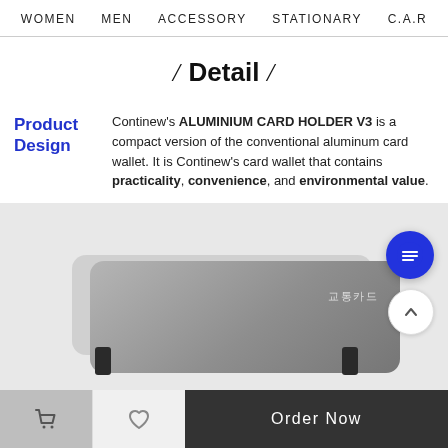WOMEN   MEN   ACCESSORY   STATIONARY   C.A.R
/ Detail /
Product Design
Continew's ALUMINIUM CARD HOLDER V3 is a compact version of the conventional aluminum card wallet. It is Continew's card wallet that contains practicality, convenience, and environmental value.
[Figure (photo): Gray aluminum card holder with a transit card (교통카드) visible, shown against a light gray background with dark clips at the bottom]
Order Now